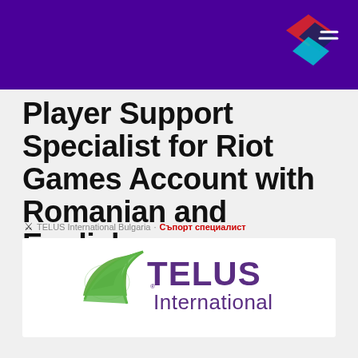Player Support Specialist for Riot Games Account with Romanian and English
TELUS International Bulgaria · Съпорт специалист
[Figure (logo): TELUS International logo with green stylized T and purple TELUS International text]